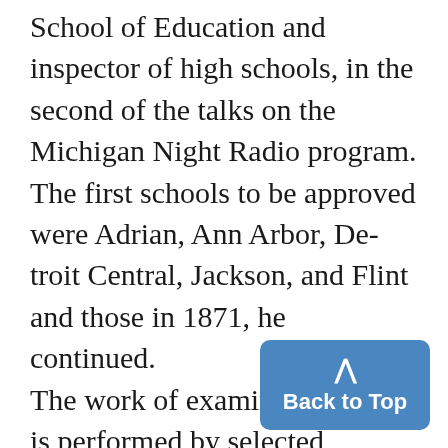School of Education and inspector of high schools, in the second of the talks on the Michigan Night Radio program. The first schools to be approved were Adrian, Ann Arbor, Detroit Central, Jackson, and Flint and those in 1871, he continued. The work of examining schools is performed by selected members of the faculties of the literary college, engineering college, architectural college, and School of Education. "The reports of the various schools a[re] examined by the University co[mmittee]